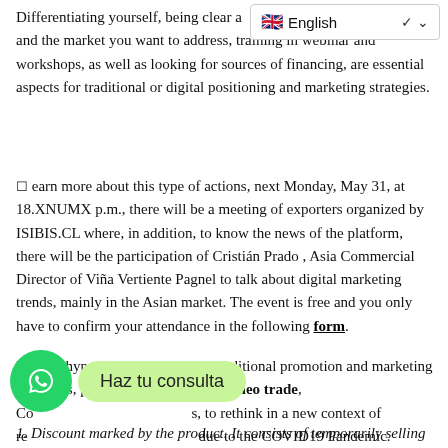Differentiating yourself, being clear a... both the product and the market you want to address, training in webinar and workshops, as well as looking for sources of financing, are essential aspects for traditional or digital positioning and marketing strategies.
☐ learn more about this type of actions, next Monday, May 31, at 18.XNUMX p.m., there will be a meeting of exporters organized by ISIBIS.CL where, in addition, to know the news of the platform, there will be the participation of Cristián Prado , Asia Commercial Director of Viña Vertiente Pagnel to talk about digital marketing trends, mainly in the Asian market. The event is free and you only have to confirm your attendance in the following form.
Despite hyper digitization, some traditional promotion and marketing strategies, proposed by experts from neo trade, Co...in b..., to rethink in a new context of re...ace... due to the COVID19 Pandemic.
[Figure (other): WhatsApp chat button with green circle icon and 'Haz tu consulta' bubble label]
Discount marked by the product. It consists of temporarily selling